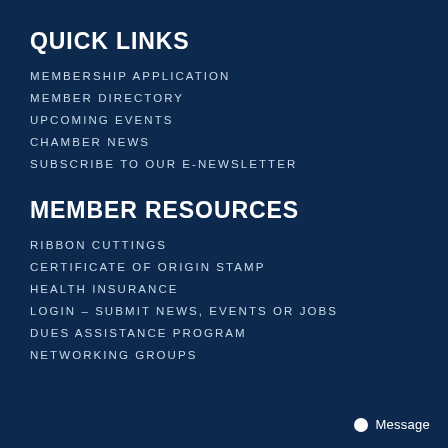QUICK LINKS
MEMBERSHIP APPLICATION
MEMBER DIRECTORY
UPCOMING EVENTS
CHAMBER NEWS
SUBSCRIBE TO OUR E-NEWSLETTER
MEMBER RESOURCES
RIBBON CUTTINGS
CERTIFICATE OF ORIGIN STAMP
HEALTH INSURANCE
LOGIN – SUBMIT NEWS, EVENTS OR JOBS
DUES ASSISTANCE PROGRAM
NETWORKING GROUPS
Message